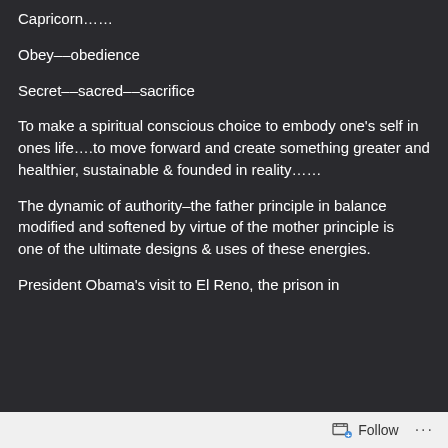Capricorn……
Obey––obedience
Secret––sacred––sacrifice
To make a spiritual conscious choice to embody one's self in ones life….to move forward and create something greater and healthier, sustainable & founded in reality……
The dynamic of authority–the father principle in balance modified and softened by virtue of the mother principle is  one of the ultimate designs & uses of these energies.
President Obama's visit to El Reno, the prison in
Follow ...